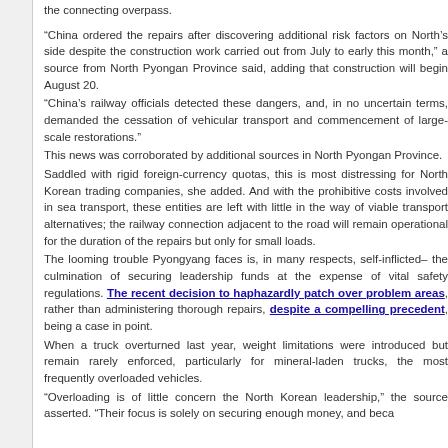the connecting overpass.
“China ordered the repairs after discovering additional risk factors on North’s side despite the construction work carried out from July to early this month,” a source from North Pyongan Province said, adding that construction will begin August 20.
“China’s railway officials detected these dangers, and, in no uncertain terms, demanded the cessation of vehicular transport and commencement of large-scale restorations.”
This news was corroborated by additional sources in North Pyongan Province.
Saddled with rigid foreign-currency quotas, this is most distressing for North Korean trading companies, she added. And with the prohibitive costs involved in sea transport, these entities are left with little in the way of viable transport alternatives; the railway connection adjacent to the road will remain operational for the duration of the repairs but only for small loads.
The looming trouble Pyongyang faces is, in many respects, self-inflicted– the culmination of securing leadership funds at the expense of vital safety regulations. The recent decision to haphazardly patch over problem areas, rather than administering thorough repairs, despite a compelling precedent, being a case in point.
When a truck overturned last year, weight limitations were introduced but remain rarely enforced, particularly for mineral-laden trucks, the most frequently overloaded vehicles.
“Overloading is of little concern the North Korean leadership,” the source asserted. “Their focus is solely on securing enough money, and beca